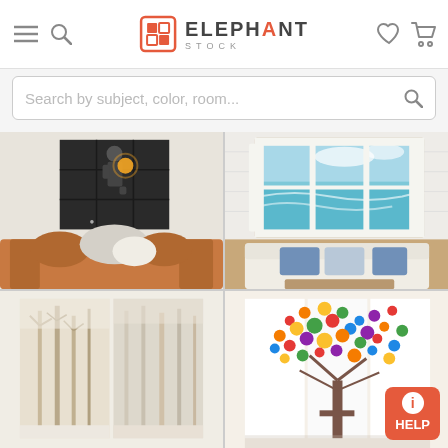[Figure (logo): ElephantStock logo with hamburger menu, search icon, heart and cart icons in header]
Search by subject, color, room...
[Figure (photo): Canvas wall art of basketball player dunking with glowing ball, displayed in living room with orange sofa]
[Figure (photo): Canvas wall art of open window with ocean view, displayed in coastal living room with white sofa]
[Figure (photo): Canvas wall art of white winter trees forest, partially visible]
[Figure (photo): Canvas wall art of colorful abstract tree with rainbow dots, partially visible]
HELP